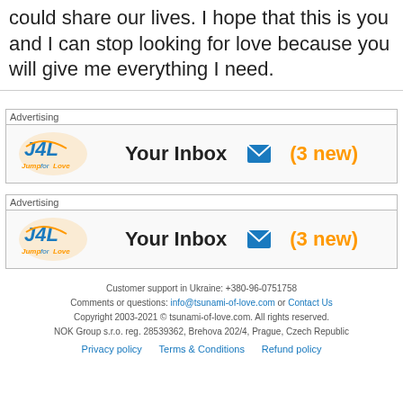could share our lives. I hope that this is you and I can stop looking for love because you will give me everything I need.
[Figure (infographic): Advertising banner for J4L (Jump for Love) dating site showing logo, 'Your Inbox' text, envelope icon, and '(3 new)' notification - first instance]
[Figure (infographic): Advertising banner for J4L (Jump for Love) dating site showing logo, 'Your Inbox' text, envelope icon, and '(3 new)' notification - second instance]
Customer support in Ukraine: +380-96-0751758
Comments or questions: info@tsunami-of-love.com or Contact Us
Copyright 2003-2021 © tsunami-of-love.com. All rights reserved.
NOK Group s.r.o. reg. 28539362, Brehova 202/4, Prague, Czech Republic
Privacy policy   Terms & Conditions   Refund policy